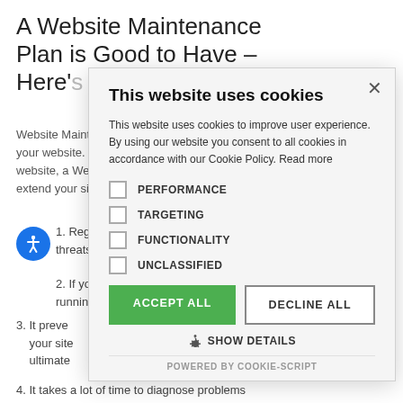A Website Maintenance Plan is Good to Have – Here's Why
Website Maintenance ... your website. ... website, a Web... extend your sit...
1. Regular... threats.
2. If you h... running...
3. It preve... your site... ultimate...
4. It takes a lot of time to diagnose problems
[Figure (screenshot): Cookie consent modal dialog with title 'This website uses cookies', body text about cookie policy, four checkboxes (PERFORMANCE, TARGETING, FUNCTIONALITY, UNCLASSIFIED), ACCEPT ALL and DECLINE ALL buttons, SHOW DETAILS link, and POWERED BY COOKIE-SCRIPT footer.]